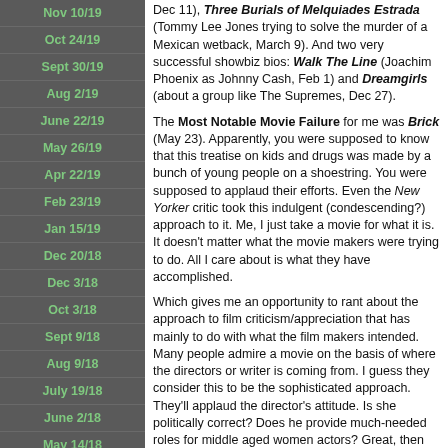Nov 10/19
Oct 24/19
Sept 30/19
Aug 2/19
June 22/19
May 26/19
Apr 22/19
Feb 23/19
Jan 15/19
Dec 20/18
Dec 3/18
Oct 3/18
Sept 9/18
Aug 9/18
July 19/18
June 2/18
May 14/18
Apr 23/18
Feb 22/18
Jan15/18
Dec 11), Three Burials of Melquiades Estrada (Tommy Lee Jones trying to solve the murder of a Mexican wetback, March 9). And two very successful showbiz bios: Walk The Line (Joachim Phoenix as Johnny Cash, Feb 1) and Dreamgirls (about a group like The Supremes, Dec 27).
The Most Notable Movie Failure for me was Brick (May 23). Apparently, you were supposed to know that this treatise on kids and drugs was made by a bunch of young people on a shoestring. You were supposed to applaud their efforts. Even the New Yorker critic took this indulgent (condescending?) approach to it. Me, I just take a movie for what it is. It doesn't matter what the movie makers were trying to do. All I care about is what they have accomplished.
Which gives me an opportunity to rant about the approach to film criticism/appreciation that has mainly to do with what the film makers intended. Many people admire a movie on the basis of where the directors or writer is coming from. I guess they consider this to be the sophisticated approach. They'll applaud the director's attitude. Is she politically correct? Does he provide much-needed roles for middle aged women actors? Great, then we're all for his or her movie! Is this a movie by a woman who is delving into issues